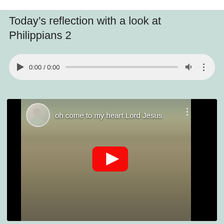Today’s reflection with a look at Philippians 2
[Figure (other): Audio player widget showing 0:00 / 0:00 with play button, progress bar, volume icon, and more options icon]
[Figure (screenshot): YouTube video embed showing a man with a caption 'oh come to my heart Lord Jesus' with a red YouTube play button overlay]